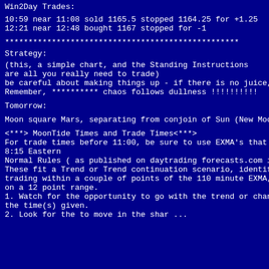Win2Day Trades:
10:59 near 11:08 sold 1165.5 stopped 1164.25 for +1.25
12:21 near 12:48 bought 1167 stopped for -1
**************************************************
Strategy:
(this, a simple chart, and the Standing Instructions
are all you really need to trade)
be careful about making things up - if there is no juice, don't jump
Remember, ********** chaos follows dullness !!!!!!!!!!
Tomorrow:
Moon square Mars, separating from conjoin of Sun (New Moon)
<***> MoonTide Times and Trade Times<***>
For trade times before 11:00, be sure to use EXMA's that include da
8:15 Eastern
Normal Rules ( as published on daytrading forecasts.com in the tuto
These fit a Trend or Trend continuation scenario, identified by prices
trading within a couple of points of the 110 minute EXMA, taking p
on a 12 point range.
1. Watch for the opportunity to go with the trend or change in trend a
the time(s) given.
2. Look for the to move in the shar ...